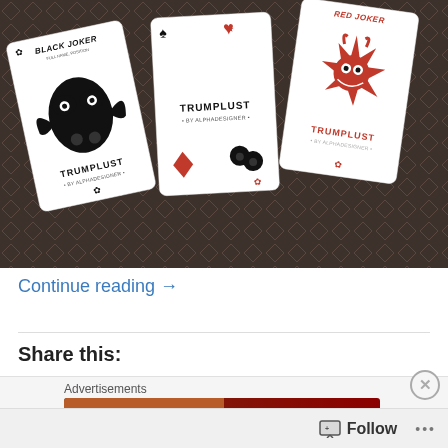[Figure (photo): Three playing cards (jokers) from the Trumplust card deck by Alphadesigner, arranged overlapping on a dark diamond-patterned background. Left card: Black Joker with black tribal/folk art figure. Center card: Trumplust by Alphadesigner with black spade, red heart, red diamond, and black figures. Right card: Red Joker with red star-burst bunny/sun creature.]
Continue reading →
Share this:
Advertisements
[Figure (screenshot): Advertisement banner showing pizza image with ORDER button]
Follow